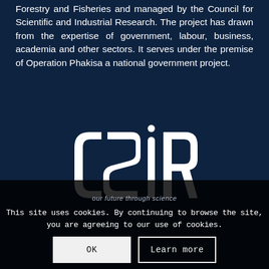Forestry and Fisheries and managed by the Council for Scientific and Industrial Research. The project has drawn from the expertise of government, labour, business, academia and other sectors. It serves under the premise of Operation Phakisa a national government project.
[Figure (logo): CSIR logo — white stylized letters C, S, I, R on dark navy background]
our future through science
This site uses cookies. By continuing to browse the site, you are agreeing to our use of cookies.
OK
Learn more